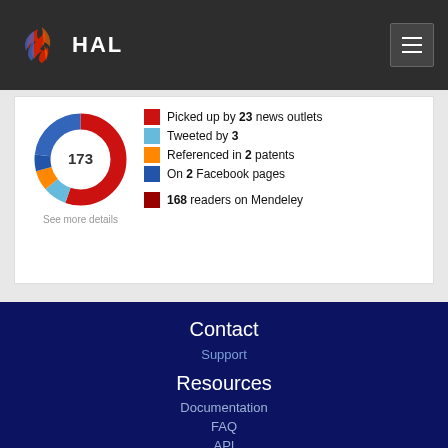HAL
[Figure (donut-chart): Donut chart showing altmetric score of 173. Colored segments: red (news), light blue (twitter), orange (patents), blue (Facebook), dark red (Mendeley).]
Picked up by 23 news outlets
Tweeted by 3
Referenced in 2 patents
On 2 Facebook pages
168 readers on Mendeley
See more details
Contact
Support
Resources
Documentation
FAQ
API
OAI-PMH
AuréHAL